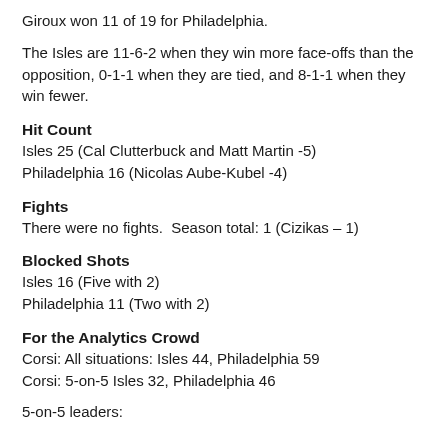Giroux won 11 of 19 for Philadelphia.
The Isles are 11-6-2 when they win more face-offs than the opposition, 0-1-1 when they are tied, and 8-1-1 when they win fewer.
Hit Count
Isles 25 (Cal Clutterbuck and Matt Martin -5)
Philadelphia 16 (Nicolas Aube-Kubel -4)
Fights
There were no fights.  Season total: 1 (Cizikas – 1)
Blocked Shots
Isles 16 (Five with 2)
Philadelphia 11 (Two with 2)
For the Analytics Crowd
Corsi: All situations: Isles 44, Philadelphia 59
Corsi: 5-on-5 Isles 32, Philadelphia 46
5-on-5 leaders: